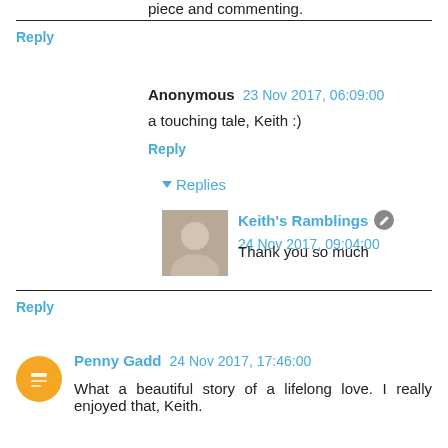piece and commenting.
Reply
Anonymous  23 Nov 2017, 06:09:00
a touching tale, Keith :)
Reply
▾ Replies
Keith's Ramblings  24 Nov 2017, 09:04:00
Thank you so much
Reply
Penny Gadd  24 Nov 2017, 17:46:00
What a beautiful story of a lifelong love. I really enjoyed that, Keith.